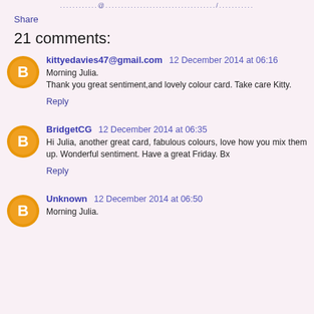............@...................../...........
Share
21 comments:
kittyedavies47@gmail.com  12 December 2014 at 06:16
Morning Julia.
Thank you great sentiment,and lovely colour card. Take care Kitty.
Reply
BridgetCG  12 December 2014 at 06:35
Hi Julia, another great card, fabulous colours, love how you mix them up. Wonderful sentiment. Have a great Friday. Bx
Reply
Unknown  12 December 2014 at 06:50
Morning Julia.